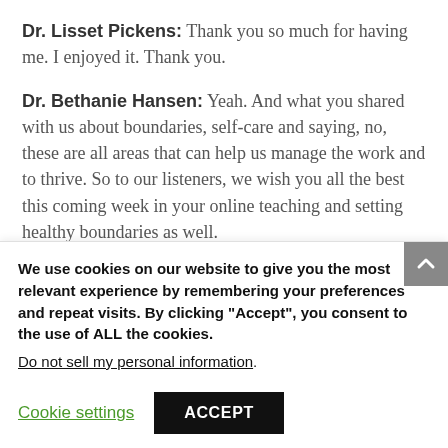Dr. Lisset Pickens: Thank you so much for having me. I enjoyed it. Thank you.
Dr. Bethanie Hansen: Yeah. And what you shared with us about boundaries, self-care and saying, no, these are all areas that can help us manage the work and to thrive. So to our listeners, we wish you all the best this coming week in your online teaching and setting healthy boundaries as well.
We use cookies on our website to give you the most relevant experience by remembering your preferences and repeat visits. By clicking "Accept", you consent to the use of ALL the cookies. Do not sell my personal information.